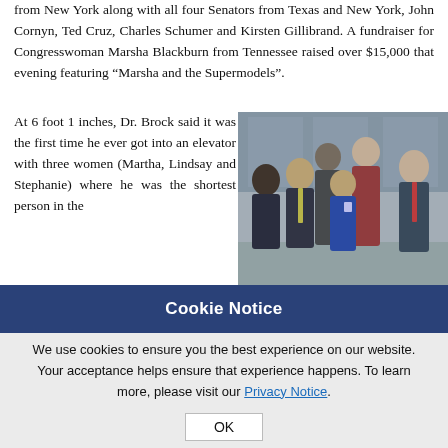from New York along with all four Senators from Texas and New York, John Cornyn, Ted Cruz, Charles Schumer and Kirsten Gillibrand. A fundraiser for Congresswoman Marsha Blackburn from Tennessee raised over $15,000 that evening featuring “Marsha and the Supermodels”.
At 6 foot 1 inches, Dr. Brock said it was the first time he ever got into an elevator with three women (Martha, Lindsay and Stephanie) where he was the shortest person in the
[Figure (photo): Group photo of six people posing together indoors, appearing to be at a professional or political event. The group includes men and women of various heights.]
Cookie Notice
We use cookies to ensure you the best experience on our website. Your acceptance helps ensure that experience happens. To learn more, please visit our Privacy Notice.
OK